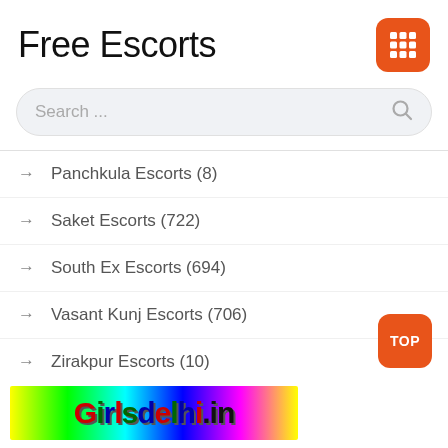Free Escorts
[Figure (other): Orange rounded square grid/apps icon]
Search ...
→ Panchkula Escorts (8)
→ Saket Escorts (722)
→ South Ex Escorts (694)
→ Vasant Kunj Escorts (706)
→ Zirakpur Escorts (10)
[Figure (other): Orange rounded square button with text TOP]
[Figure (other): Banner with rainbow gradient background and text Girlsdelhi.in]